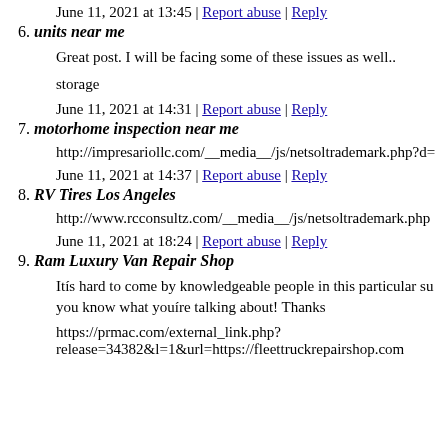June 11, 2021 at 13:45 | Report abuse | Reply
6. units near me
Great post. I will be facing some of these issues as well..
storage
June 11, 2021 at 14:31 | Report abuse | Reply
7. motorhome inspection near me
http://impresariollc.com/__media__/js/netsoltrademark.php?d=
June 11, 2021 at 14:37 | Report abuse | Reply
8. RV Tires Los Angeles
http://www.rcconsultz.com/__media__/js/netsoltrademark.php
June 11, 2021 at 18:24 | Report abuse | Reply
9. Ram Luxury Van Repair Shop
Itís hard to come by knowledgeable people in this particular su you know what youíre talking about! Thanks
https://prmac.com/external_link.php?release=34382&l=1&url=https://fleettruckrepairshop.com